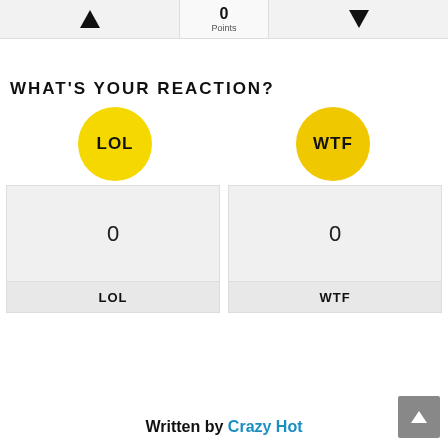[Figure (infographic): Vote bar with up arrow on left, 0 Points in center, down arrow on right]
WHAT'S YOUR REACTION?
[Figure (infographic): Two yellow circular reaction buttons labeled LOL and WTF, each with a count box showing 0 and a label below]
Written by Crazy Hot